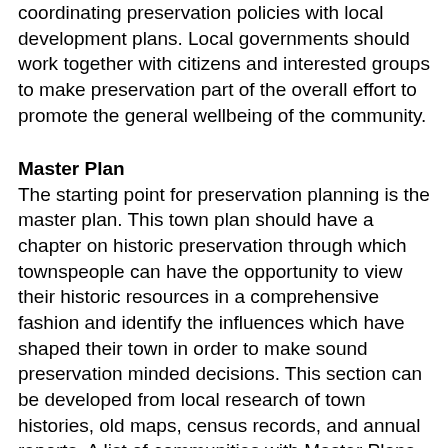coordinating preservation policies with local development plans. Local governments should work together with citizens and interested groups to make preservation part of the overall effort to promote the general wellbeing of the community.
Master Plan
The starting point for preservation planning is the master plan. This town plan should have a chapter on historic preservation through which townspeople can have the opportunity to view their historic resources in a comprehensive fashion and identify the influences which have shaped their town in order to make sound preservation minded decisions. This section can be developed from local research of town histories, old maps, census records, and annual reports. A list of communities with Master Plans with historic chapters can be viewed here. In addition, a large part of this section is a cultural resource survey also known as a historic resource inventory. LRPC has worked with a number of communities to create inventories which can be viewed here. This should survey and document the location and significance of multiple town properties deemed noteworthy.
Historic Districts
One tool often used by planners to implement preservation